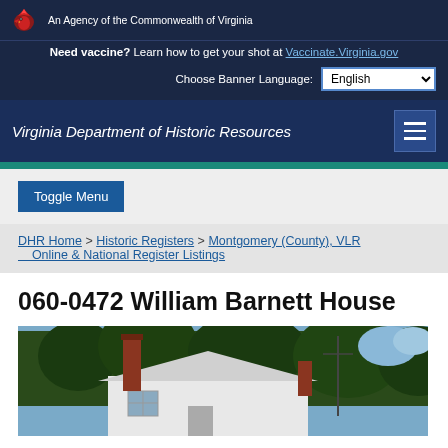An Agency of the Commonwealth of Virginia
Need vaccine? Learn how to get your shot at Vaccinate.Virginia.gov
Choose Banner Language: English / Spanish
Virginia Department of Historic Resources
Toggle Menu
DHR Home > Historic Registers > Montgomery (County), VLR Online & National Register Listings
060-0472 William Barnett House
[Figure (photo): Photograph of the William Barnett House, a white house with brick chimney surrounded by trees, blue sky visible in background.]